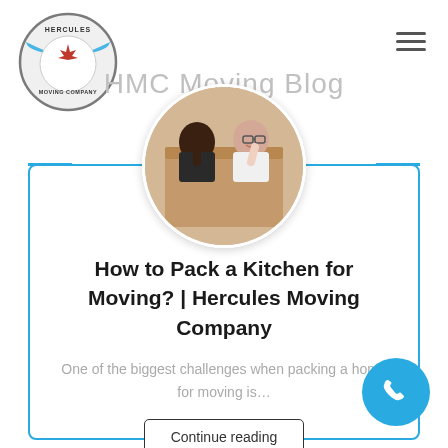[Figure (logo): Hercules Moving Company circular logo with wings and Canadian maple leaf]
HMC Moving Blog
[Figure (photo): Circular photo of two people looking down into a moving box, smiling]
How to Pack a Kitchen for Moving? | Hercules Moving Company
One of the biggest challenges when packing a home for moving is…
Continue reading